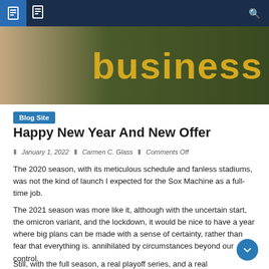Blog Site navigation header with icons
[Figure (photo): Banner image with dark green/olive background and gold/yellow text reading 'business']
Blog Site
Happy New Year And New Offer
January 1, 2022  |  Carmen C. Glass  |  Comments Off
The 2020 season, with its meticulous schedule and fanless stadiums, was not the kind of launch I expected for the Sox Machine as a full-time job.
The 2021 season was more like it, although with the uncertain start, the omicron variant, and the lockdown, it would be nice to have a year where big plans can be made with a sense of certainty, rather than fear that everything is. annihilated by circumstances beyond our control.
Still, with the full season, a real playoff series, and a real...